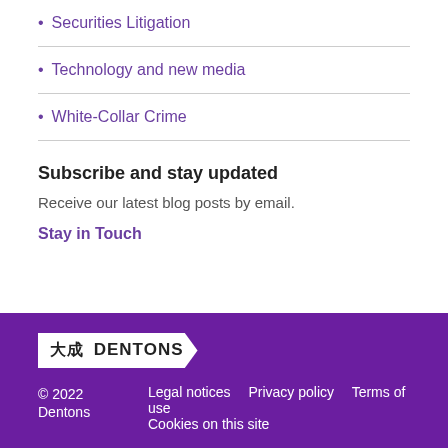Securities Litigation
Technology and new media
White-Collar Crime
Subscribe and stay updated
Receive our latest blog posts by email.
Stay in Touch
大成 DENTONS  © 2022 Dentons  Legal notices  Privacy policy  Terms of use  Cookies on this site